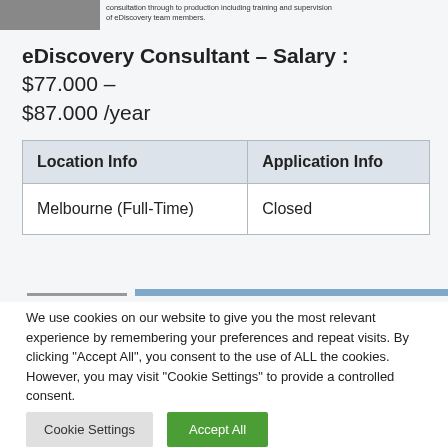consultation through to production including training and supervision of eDiscovery team members.
eDiscovery Consultant – Salary : $77.000 – $87.000 /year
| Location Info | Application Info |
| --- | --- |
| Melbourne (Full-Time) | Closed |
We use cookies on our website to give you the most relevant experience by remembering your preferences and repeat visits. By clicking "Accept All", you consent to the use of ALL the cookies. However, you may visit "Cookie Settings" to provide a controlled consent.